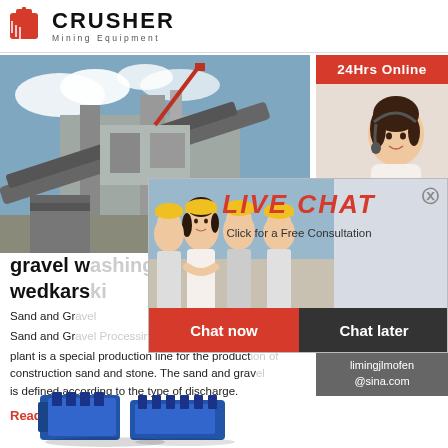[Figure (logo): Crusher Mining Equipment logo with red shopping bag icon and bold CRUSHER text]
[Figure (photo): Industrial crusher/mining equipment facility with conveyor belts and machinery under blue sky]
[Figure (photo): 24Hrs Online sidebar with Asian female customer service agent wearing headset]
gravel w... wedkars...
Sand and Gr... Sand and Gr... plant is a special production line for the product... construction sand and stone. The sand and grav... is defined according to the type of discharge.
Read More
[Figure (photo): Blue industrial crusher/hammer mill equipment]
[Figure (infographic): Live Chat popup overlay with workers in hard hats photo, LIVE CHAT title in red italic, Click for a Free Consultation text, Chat now and Chat later buttons]
[Figure (infographic): Need questions & suggestion sidebar panel with Chat Now button, Enquiry link, and limingjlmofen@sina.com email]